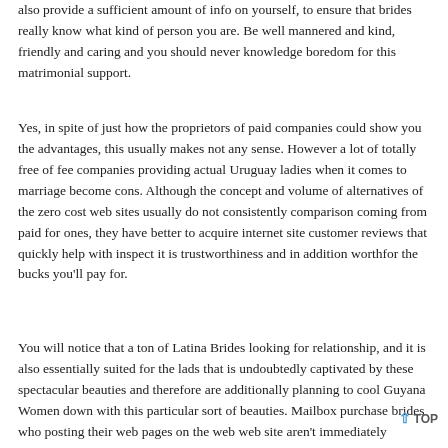also provide a sufficient amount of info on yourself, to ensure that brides really know what kind of person you are. Be well mannered and kind, friendly and caring and you should never knowledge boredom for this matrimonial support.
Yes, in spite of just how the proprietors of paid companies could show you the advantages, this usually makes not any sense. However a lot of totally free of fee companies providing actual Uruguay ladies when it comes to marriage become cons. Although the concept and volume of alternatives of the zero cost web sites usually do not consistently comparison coming from paid for ones, they have better to acquire internet site customer reviews that quickly help with inspect it is trustworthiness and in addition worthfor the bucks you'll pay for.
You will notice that a ton of Latina Brides looking for relationship, and it is also essentially suited for the lads that is undoubtedly captivated by these spectacular beauties and therefore are additionally planning to cool Guyana Women down with this particular sort of beauties. Mailbox purchase brides who posting their web pages on the web web site aren't immediately registered representatives. Neglect to recollect the labyrinth completely completely different internet pages allow you to undergo —